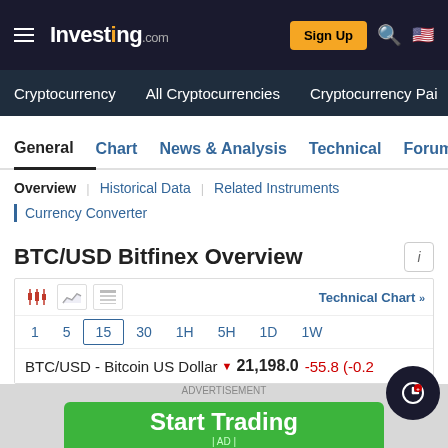Investing.com
Cryptocurrency | All Cryptocurrencies | Cryptocurrency Pairs
General | Chart | News & Analysis | Technical | Forum
Overview | Historical Data | Related Instruments
Currency Converter
BTC/USD Bitfinex Overview
Technical Chart »
1  5  15  30  1H  5H  1D  1W
BTC/USD - Bitcoin US Dollar ● 21,198.0  -55.8 (-0.2…
ADVERTISEMENT
Start Trading | AD |